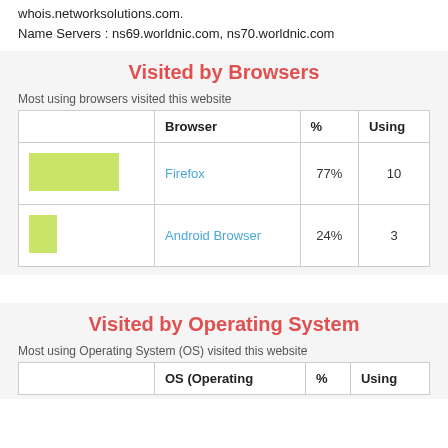whois.networksolutions.com.
Name Servers : ns69.worldnic.com, ns70.worldnic.com
Visited by Browsers
Most using browsers visited this website
|  | Browser | % | Using |
| --- | --- | --- | --- |
| [bar] | Firefox | 77% | 10 |
| [bar] | Android Browser | 24% | 3 |
Visited by Operating System
Most using Operating System (OS) visited this website
|  | OS (Operating | % | Using |
| --- | --- | --- | --- |